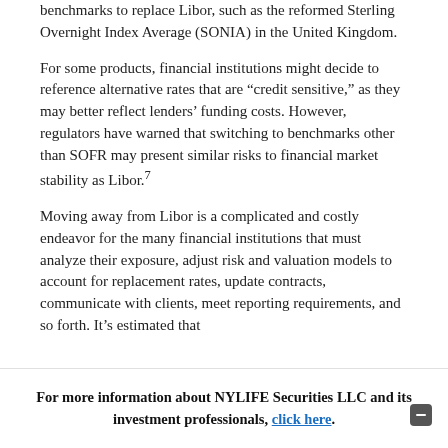benchmarks to replace Libor, such as the reformed Sterling Overnight Index Average (SONIA) in the United Kingdom.
For some products, financial institutions might decide to reference alternative rates that are “credit sensitive,” as they may better reflect lenders’ funding costs. However, regulators have warned that switching to benchmarks other than SOFR may present similar risks to financial market stability as Libor.7
Moving away from Libor is a complicated and costly endeavor for the many financial institutions that must analyze their exposure, adjust risk and valuation models to account for replacement rates, update contracts, communicate with clients, meet reporting requirements, and so forth. It’s estimated that
For more information about NYLIFE Securities LLC and its investment professionals, click here.